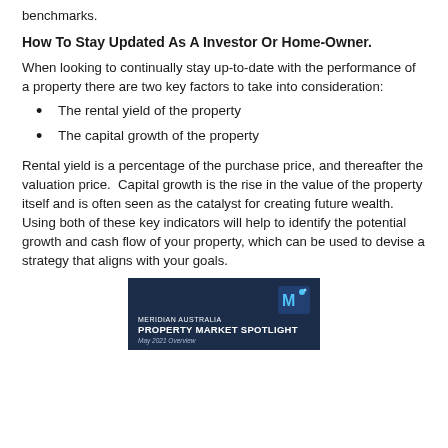benchmarks.
How To Stay Updated As A Investor Or Home-Owner.
When looking to continually stay up-to-date with the performance of a property there are two key factors to take into consideration:
The rental yield of the property
The capital growth of the property
Rental yield is a percentage of the purchase price, and thereafter the valuation price.  Capital growth is the rise in the value of the property itself and is often seen as the catalyst for creating future wealth. Using both of these key indicators will help to identify the potential growth and cash flow of your property, which can be used to devise a strategy that aligns with your goals.
[Figure (other): Meridian Australia Property Market Spotlight brochure cover image with dark navy background and logo]